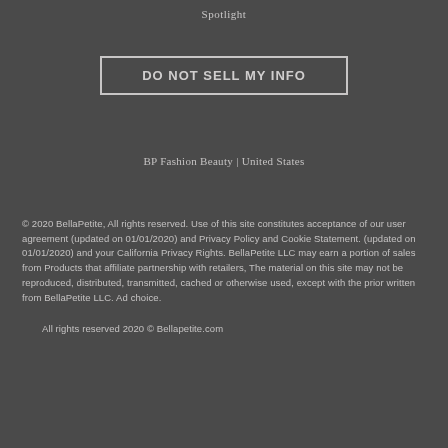Spotlight
DO NOT SELL MY INFO
BP Fashion Beauty | United States
© 2020 BellaPetite, All rights reserved. Use of this site constitutes acceptance of our user agreement (updated on 01/01/2020) and Privacy Policy and Cookie Statement. (updated on 01/01/2020) and your California Privacy Rights. BellaPetite LLC may earn a portion of sales from Products that affiliate partnership with retailers, The material on this site may not be reproduced, distributed, transmitted, cached or otherwise used, except with the prior written from BellaPetite LLC. Ad choice.
All rights reserved 2020 © Bellapetite.com